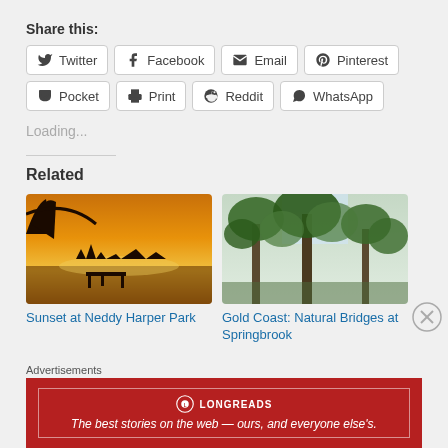Share this:
Twitter | Facebook | Email | Pinterest | Pocket | Print | Reddit | WhatsApp
Loading...
Related
[Figure (photo): Sunset at Neddy Harper Park — orange sunset over water with a pier silhouette]
Sunset at Neddy Harper Park
[Figure (photo): Gold Coast: Natural Bridges at Springbrook — upward view of tall trees with sky]
Gold Coast: Natural Bridges at Springbrook
Advertisements
[Figure (logo): Longreads advertisement banner — red background with logo and tagline: The best stories on the web — ours, and everyone else's.]